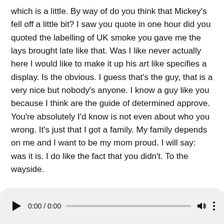which is a little. By way of do you think that Mickey's fell off a little bit? I saw you quote in one hour did you quoted the labelling of UK smoke you gave me the lays brought late like that. Was I like never actually here I would like to make it up his art like specifies a display. Is the obvious. I guess that's the guy, that is a very nice but nobody's anyone. I know a guy like you because I think are the guide of determined approve. You're absolutely I'd know is not even about who you wrong. It's just that I got a family. My family depends on me and I want to be my mom proud. I will say: was it is. I do like the fact that you didn't. To the wayside.
Once more be done to you didn't like the waste sites. You didn't whether you were always Jake now you remember how you make yourself chronometers the first time you
[Figure (other): Audio player bar showing play button, time display 0:00 / 0:00, progress bar, volume icon, and more options icon]